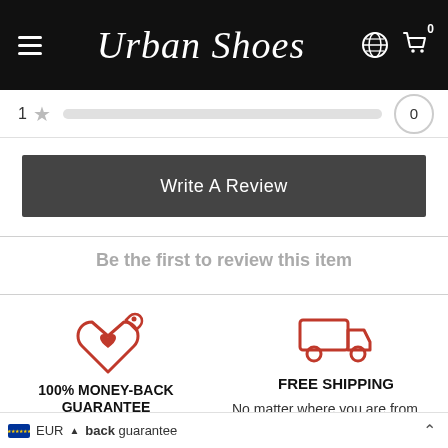Urban Shoes
1 ★ [rating bar] 0
Write A Review
Be the first to review this item
[Figure (illustration): Red heart tag icon representing 100% money-back guarantee]
100% MONEY-BACK GUARANTEE
We offer a 100% back guarantee
[Figure (illustration): Red delivery truck icon representing free shipping]
FREE SHIPPING
No matter where you are from, you'll have FREE shipping
EUR back guarantee